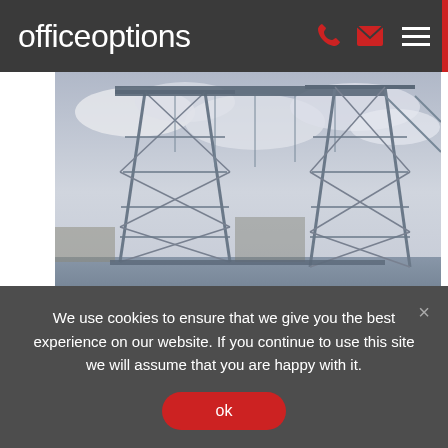officeoptions
[Figure (photo): Photograph of the Middlesbrough Transporter Bridge, a large industrial steel bridge structure over a river, with rocky muddy foreground and cloudy sky.]
Is your new office a ready-
Got any questions? I'm happy to
We use cookies to ensure that we give you the best experience on our website. If you continue to use this site we will assume that you are happy with it.
ok